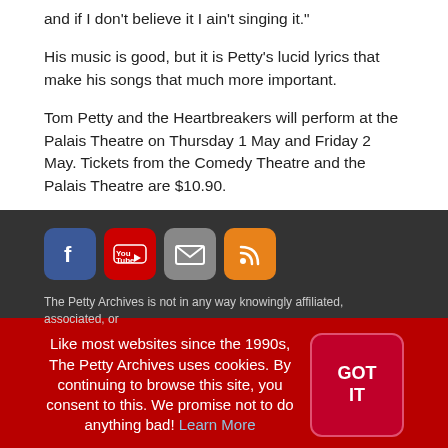and if I don't believe it I ain't singing it."
His music is good, but it is Petty's lucid lyrics that make his songs that much more important.
Tom Petty and the Heartbreakers will perform at the Palais Theatre on Thursday 1 May and Friday 2 May. Tickets from the Comedy Theatre and the Palais Theatre are $10.90.
[Figure (infographic): Social media icons: Facebook (blue), YouTube (red), Email (grey), RSS (orange)]
The Petty Archives is not in any way knowingly affiliated, associated, or
Like most websites since the 1990s, The Petty Archives uses cookies. By continuing to browse this site, you consent to this. We promise not to do anything bad! Learn More